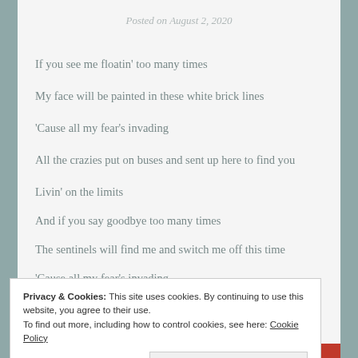Posted on August 2, 2020
If you see me floatin’ too many times
My face will be painted in these white brick lines
‘Cause all my fear’s invading
All the crazies put on buses and sent up here to find you
Livin’ on the limits
And if you say goodbye too many times
The sentinels will find me and switch me off this time
‘Cause all my fear’s invading
All the crazies put on buses and sent up here to find you
Privacy & Cookies: This site uses cookies. By continuing to use this website, you agree to their use.
To find out more, including how to control cookies, see here: Cookie Policy
Close and accept